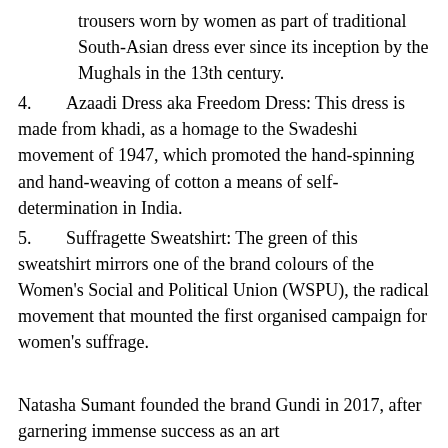trousers worn by women as part of traditional South-Asian dress ever since its inception by the Mughals in the 13th century.
4.      Azaadi Dress aka Freedom Dress: This dress is made from khadi, as a homage to the Swadeshi movement of 1947, which promoted the hand-spinning and hand-weaving of cotton a means of self-determination in India.
5.      Suffragette Sweatshirt: The green of this sweatshirt mirrors one of the brand colours of the Women's Social and Political Union (WSPU), the radical movement that mounted the first organised campaign for women's suffrage.
Natasha Sumant founded the brand Gundi in 2017, after garnering immense success as an art